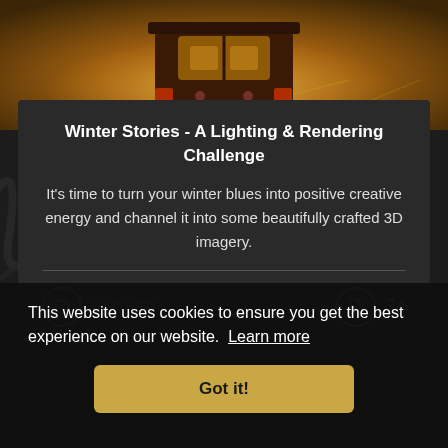[Figure (photo): A vintage VW bus/van toy or model photographed against a warm golden-orange blurred background, view from behind]
Winter Stories - A Lighting & Rendering Challenge
It's time to turn your winter blues into positive creative energy and channel it into some beautifully crafted 3D imagery.
CLOSED   74
This website uses cookies to ensure you get the best experience on our website.  Learn more
Got it!